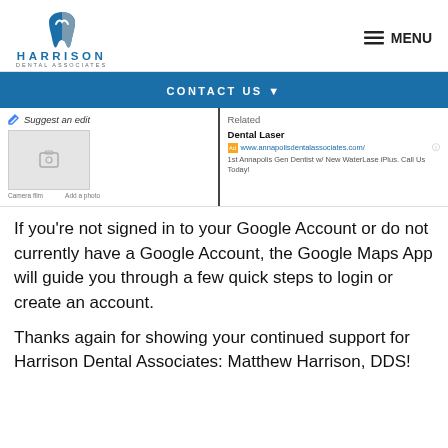HARRISON DENTAL ASSOCIATES  MENU
[Figure (logo): Harrison Dental Associates logo with tooth icon in blue and grey, text HARRISON DENTAL ASSOCIATES below]
[Figure (screenshot): Screenshot of a Google Maps listing showing Suggest an edit on the left panel with a photo placeholder, and a Related section on the right with Dental Laser ad from www.annapolisdentalassociates.com]
If you're not signed in to your Google Account or do not currently have a Google Account, the Google Maps App will guide you through a few quick steps to login or create an account.
Thanks again for showing your continued support for Harrison Dental Associates: Matthew Harrison, DDS!